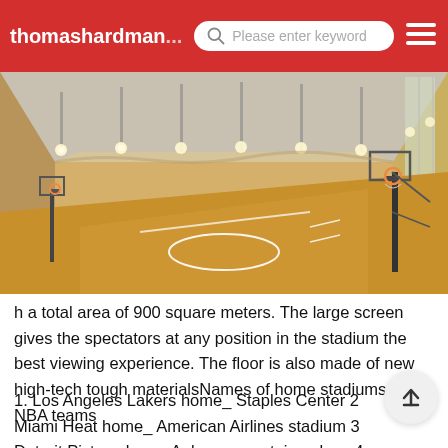thomashardman... Please enter keyword
[Figure (photo): Indoor basketball court with wooden floor, basketball hoops, overhead lights, and large windows on the right side. Rendered 3D image of a modern sports facility.]
h a total area of 900 square meters. The large screen gives the spectators at any position in the stadium the best viewing experience. The floor is also made of new high-tech tough materialsNames of home stadiums of all NBA teams
1. Los Angeles Lakers home_ Staples Center 2 Miami Heat home_ American Airlines stadium 3 Detroit Pistons hom_ Auburn mountain palace 4 Phoenix Suns home_ American Airlines Center 5 San Antonio Spurs home_ At&t center 6